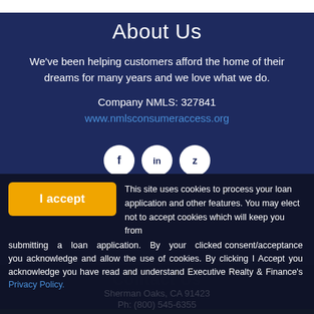About Us
We've been helping customers afford the home of their dreams for many years and we love what we do.
Company NMLS: 327841
www.nmlsconsumeraccess.org
[Figure (illustration): Three white circular social media icons (Facebook, LinkedIn, Zillow) on dark blue background]
Contact Us
This site uses cookies to process your loan application and other features. You may elect not to accept cookies which will keep you from submitting a loan application. By your clicked consent/acceptance you acknowledge and allow the use of cookies. By clicking I Accept you acknowledge you have read and understand Executive Realty & Finance's Privacy Policy.
Sherman Oaks, CA 91423
Ph: (800) 545-6355